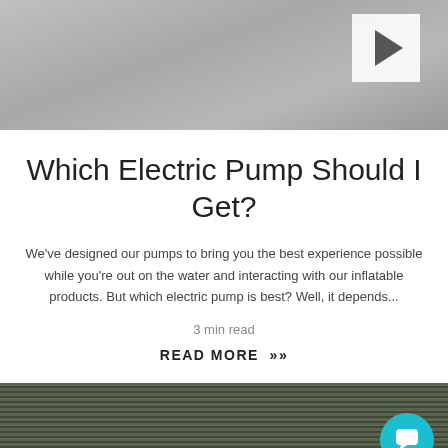[Figure (photo): Top image showing inflatable/outdoor equipment with a play button overlay, partially visible at top of page]
Which Electric Pump Should I Get?
We've designed our pumps to bring you the best experience possible while you're out on the water and interacting with our inflatable products. But which electric pump is best? Well, it depends...
3 min read
READ MORE »
[Figure (photo): Bottom image showing a dark olive/green striped background with a teal chat widget bubble in the bottom right corner]